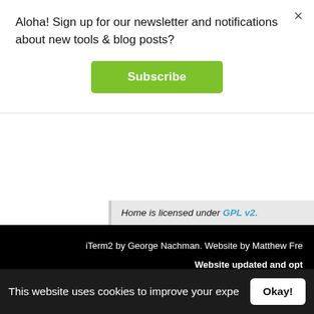Aloha! Sign up for our newsletter and notifications about new tools & blog posts?
Subscribe
[Figure (screenshot): Screenshot of a malicious iTerm2 website footer showing license and attribution text on dark/black background]
The malicious website, ap
If the user downloads and runs what they believe is a legitimate
Persistence: Unknown
This website uses cookies to improve your expe
Okay!